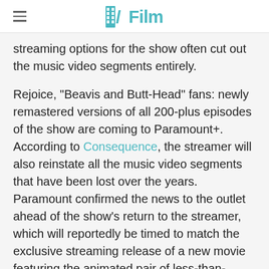/Film
streaming options for the show often cut out the music video segments entirely.
Rejoice, "Beavis and Butt-Head" fans: newly remastered versions of all 200-plus episodes of the show are coming to Paramount+. According to Consequence, the streamer will also reinstate all the music video segments that have been lost over the years. Paramount confirmed the news to the outlet ahead of the show's return to the streamer, which will reportedly be timed to match the exclusive streaming release of a new movie featuring the animated pair of less-than-wisecrackers.